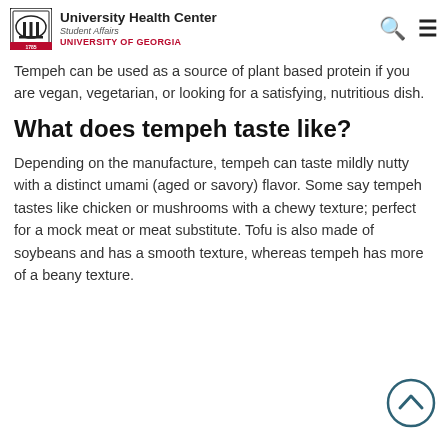University Health Center | Student Affairs | University of Georgia
Tempeh can be used as a source of plant based protein if you are vegan, vegetarian, or looking for a satisfying, nutritious dish.
What does tempeh taste like?
Depending on the manufacture, tempeh can taste mildly nutty with a distinct umami (aged or savory) flavor. Some say tempeh tastes like chicken or mushrooms with a chewy texture; perfect for a mock meat or meat substitute. Tofu is also made of soybeans and has a smooth texture, whereas tempeh has more of a beany texture.